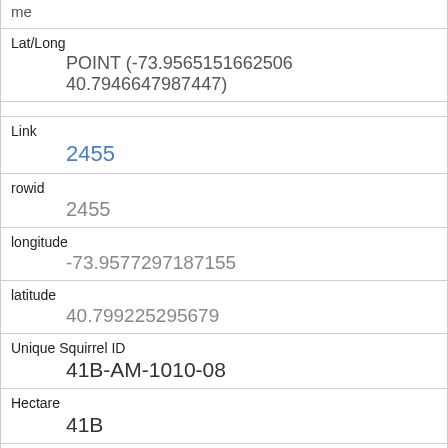| Lat/Long | POINT (-73.9565151662506 40.7946647987447) |
| Link | 2455 |
| rowid | 2455 |
| longitude | -73.9577297187155 |
| latitude | 40.799225295679 |
| Unique Squirrel ID | 41B-AM-1010-08 |
| Hectare | 41B |
| Shift | AM |
| Date | 10102018 |
| Hectare Squirrel Number |  |